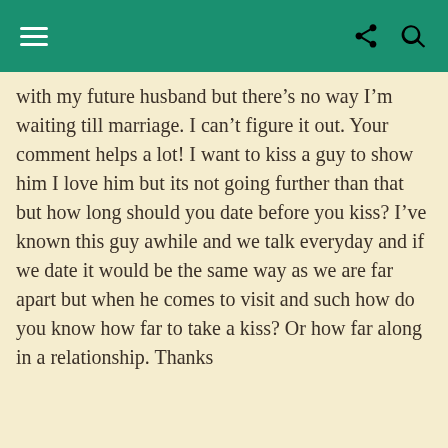with my future husband but there’s no way I’m waiting till marriage. I can’t figure it out. Your comment helps a lot! I want to kiss a guy to show him I love him but its not going further than that but how long should you date before you kiss? I’ve known this guy awhile and we talk everyday and if we date it would be the same way as we are far apart but when he comes to visit and such how do you know how far to take a kiss? Or how far along in a relationship. Thanks